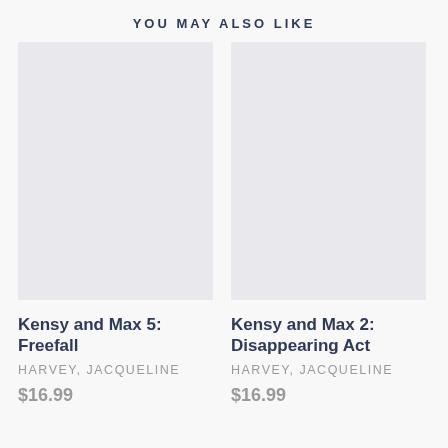YOU MAY ALSO LIKE
[Figure (illustration): Placeholder image for book cover of Kensy and Max 5: Freefall]
Kensy and Max 5: Freefall
HARVEY, JACQUELINE
$16.99
[Figure (illustration): Placeholder image for book cover of Kensy and Max 2: Disappearing Act]
Kensy and Max 2: Disappearing Act
HARVEY, JACQUELINE
$16.99